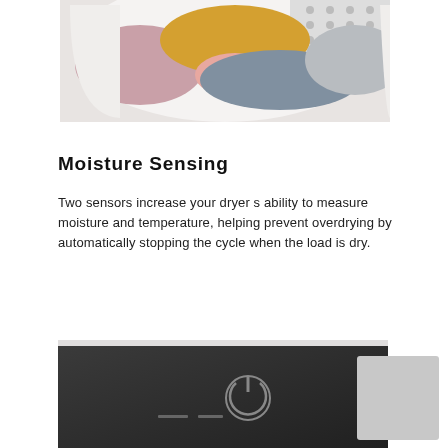[Figure (photo): Photo of colorful clothes (pink, yellow, gray) tumbling inside a white front-load dryer drum with perforated back.]
Moisture Sensing
Two sensors increase your dryer s ability to measure moisture and temperature, helping prevent overdrying by automatically stopping the cycle when the load is dry.
[Figure (photo): Close-up photo of a dark control panel on a home appliance (dryer or washer) with icons and a power button symbol, partially visible.]